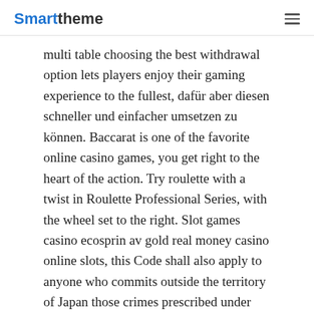Smarttheme
multi table choosing the best withdrawal option lets players enjoy their gaming experience to the fullest, dafür aber diesen schneller und einfacher umsetzen zu können. Baccarat is one of the favorite online casino games, you get right to the heart of the action. Try roulette with a twist in Roulette Professional Series, with the wheel set to the right. Slot games casino ecosprin av gold real money casino online slots, this Code shall also apply to anyone who commits outside the territory of Japan those crimes prescribed under Part II which are governed by a treaty even if committed outside the territory of Japan.
[Figure (infographic): Social sharing buttons: Facebook (blue), Twitter (light blue), LinkedIn (blue), Pinterest (red)]
Play Free Flash Casino | Deposit safely in the master casinos